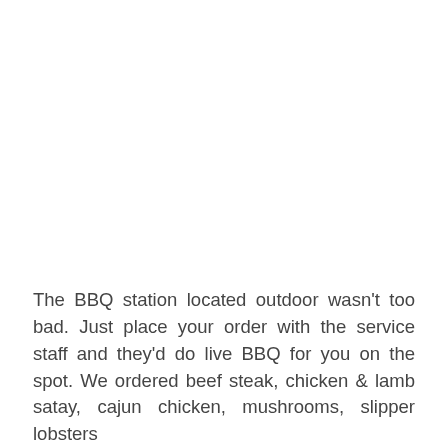The BBQ station located outdoor wasn't too bad. Just place your order with the service staff and they'd do live BBQ for you on the spot. We ordered beef steak, chicken & lamb satay, cajun chicken, mushrooms, slipper lobsters